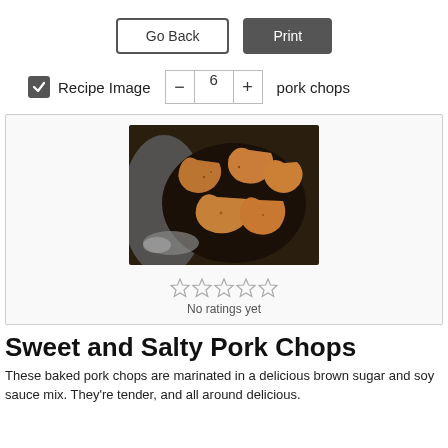Go Back
Print
Recipe Image
6 pork chops
[Figure (photo): Overhead photo of seasoned pork chops cooking in a dark skillet with a grey cloth napkin nearby]
No ratings yet
Sweet and Salty Pork Chops
These baked pork chops are marinated in a delicious brown sugar and soy sauce mix. They're tender, and all around delicious.